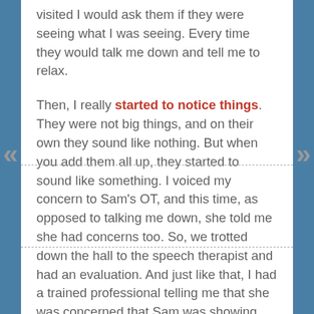visited I would ask them if they were seeing what I was seeing.  Every time they would talk me down and tell me to relax.

Then, I really started to notice things.  They were not big things, and on their own they sound like nothing.  But when you add them all up, they started to sound like something.  I voiced my concern to Sam's OT, and this time, as opposed to talking me down, she told me she had concerns too.  So, we trotted down the hall to the speech therapist and had an evaluation.  And just like that, I had a trained professional telling me that she was concerned that Sam was showing major signs of Autism.